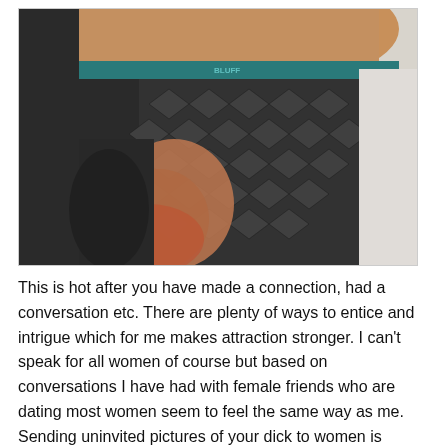[Figure (photo): Close-up photo of a person from behind wearing dark textured/patterned athletic shorts or underwear with a teal waistband logo.]
This is hot after you have made a connection, had a conversation etc. There are plenty of ways to entice and intrigue which for me makes attraction stronger. I can't speak for all women of course but based on conversations I have had with female friends who are dating most women seem to feel the same way as me. Sending uninvited pictures of your dick to women is NOT acceptable behaviour EVER. As I stated in my opening comments it is invasive, offensive and sometimes just